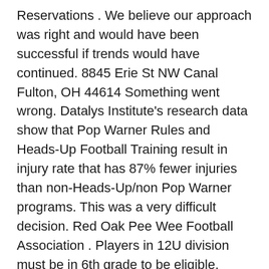Reservations . We believe our approach was right and would have been successful if trends would have continued. 8845 Erie St NW Canal Fulton, OH 44614 Something went wrong. Datalys Institute's research data show that Pop Warner Rules and Heads-Up Football Training result in injury rate that has 87% fewer injuries than non-Heads-Up/non Pop Warner programs. This was a very difficult decision. Red Oak Pee Wee Football Association . Players in 12U division must be in 6th grade to be eligible. Children's Hospital provides care for our youth athletes. Dear NJFL Franchise Members and Families, The NJFL Executive Committee has unanimously agreed to cancel the Fall 2020 football season. The Northern Ireland Football League, which is the national league of Northern Ireland, has two senior divisions, the NIFL Irish Premiership and the NIFL Championship, which consists of twenty-four semi-professional